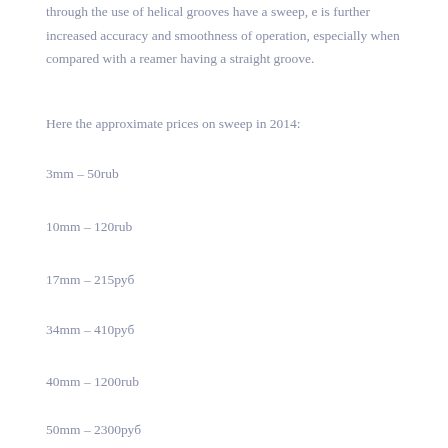through the use of helical grooves have a sweep, e is further increased accuracy and smoothness of operation, especially when compared with a reamer having a straight groove.
Here the approximate prices on sweep in 2014:
3mm – 50rub
10mm – 120rub
17mm – 215руб
34mm – 410руб
40mm – 1200rub
50mm – 2300руб